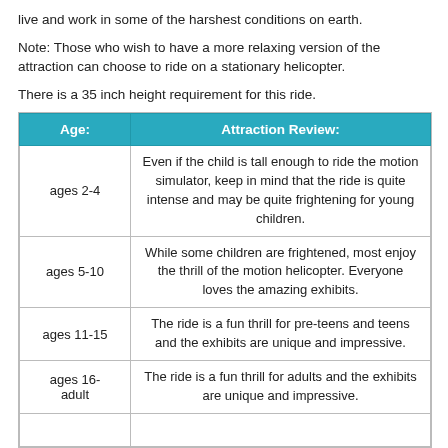live and work in some of the harshest conditions on earth.
Note: Those who wish to have a more relaxing version of the attraction can choose to ride on a stationary helicopter.
There is a 35 inch height requirement for this ride.
| Age: | Attraction Review: |
| --- | --- |
| ages 2-4 | Even if the child is tall enough to ride the motion simulator, keep in mind that the ride is quite intense and may be quite frightening for young children. |
| ages 5-10 | While some children are frightened, most enjoy the thrill of the motion helicopter. Everyone loves the amazing exhibits. |
| ages 11-15 | The ride is a fun thrill for pre-teens and teens and the exhibits are unique and impressive. |
| ages 16-adult | The ride is a fun thrill for adults and the exhibits are unique and impressive. |